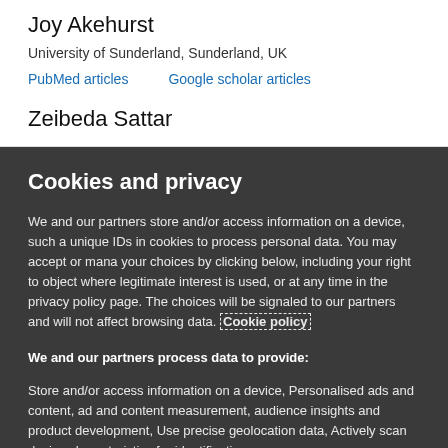Joy Akehurst
University of Sunderland, Sunderland, UK
PubMed articles    Google scholar articles
Zeibeda Sattar
Cookies and privacy
We and our partners store and/or access information on a device, such a unique IDs in cookies to process personal data. You may accept or mana your choices by clicking below, including your right to object where legitimate interest is used, or at any time in the privacy policy page. The choices will be signaled to our partners and will not affect browsing data. Cookie policy
We and our partners process data to provide:
Store and/or access information on a device, Personalised ads and content, ad and content measurement, audience insights and product development, Use precise geolocation data, Actively scan device characteristics for identification
List of Partners (vendors)